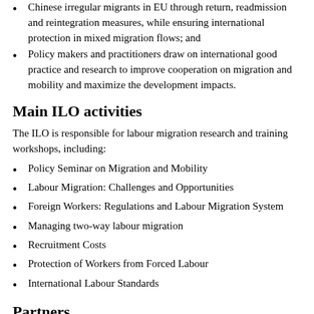Chinese irregular migrants in EU through return, readmission and reintegration measures, while ensuring international protection in mixed migration flows; and
Policy makers and practitioners draw on international good practice and research to improve cooperation on migration and mobility and maximize the development impacts.
Main ILO activities
The ILO is responsible for labour migration research and training workshops, including:
Policy Seminar on Migration and Mobility
Labour Migration: Challenges and Opportunities
Foreign Workers: Regulations and Labour Migration System
Managing two-way labour migration
Recruitment Costs
Protection of Workers from Forced Labour
International Labour Standards
Partners
Key Chinese government partners include:
The Ministry of Foreign Affairs (MFA)